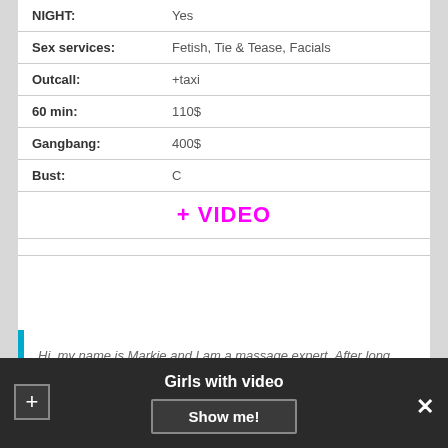| NIGHT: | Yes |
| Sex services: | Fetish, Tie & Tease, Facials |
| Outcall: | +taxi |
| 60 min: | 110$ |
| Gangbang: | 400$ |
| Bust: | C |
+ VIDEO
Hi, my name is Markie and I am a massage expert. After long flight or long hours of work, I know you need relaxing massage from a sexy girl who can speak good English. I can be you
Girls with video  Show me!